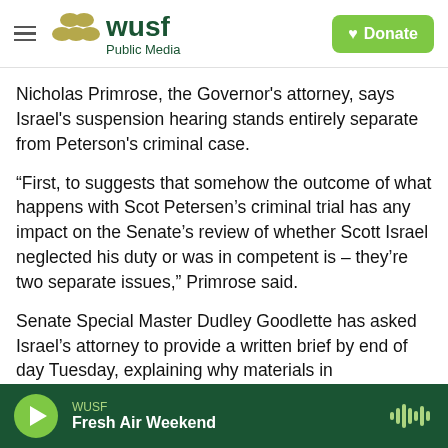WUSF Public Media
Nicholas Primrose, the Governor's attorney, says Israel's suspension hearing stands entirely separate from Peterson's criminal case.
“First, to suggests that somehow the outcome of what happens with Scot Petersen’s criminal trial has any impact on the Senate’s review of whether Scott Israel neglected his duty or was in competent is – they’re two separate issues,” Primrose said.
Senate Special Master Dudley Goodlette has asked Israel’s attorney to provide a written brief by end of day Tuesday, explaining why materials in
WUSF
Fresh Air Weekend